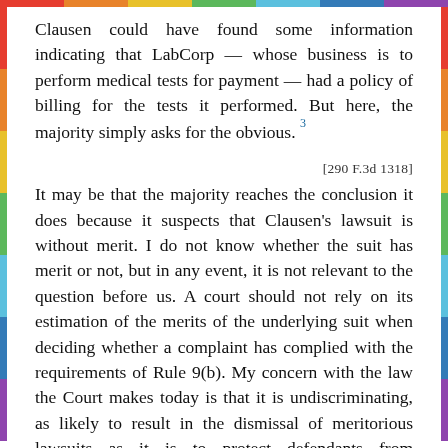Clausen could have found some information indicating that LabCorp — whose business is to perform medical tests for payment — had a policy of billing for the tests it performed. But here, the majority simply asks for the obvious. 3
[290 F.3d 1318]
It may be that the majority reaches the conclusion it does because it suspects that Clausen's lawsuit is without merit. I do not know whether the suit has merit or not, but in any event, it is not relevant to the question before us. A court should not rely on its estimation of the merits of the underlying suit when deciding whether a complaint has complied with the requirements of Rule 9(b). My concern with the law the Court makes today is that it is undiscriminating, as likely to result in the dismissal of meritorious lawsuits as it is to protect defendants from unwarranted litigation.